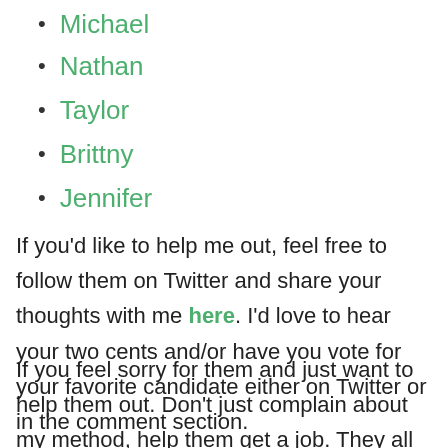Michael
Nathan
Taylor
Brittny
Jennifer
If you'd like to help me out, feel free to follow them on Twitter and share your thoughts with me here. I'd love to hear your two cents and/or have you vote for your favorite candidate either on Twitter or in the comment section.
If you feel sorry for them and just want to help them out. Don't just complain about my method, help them get a job. They all seem like excellent candidates and I'd like everyone to win.